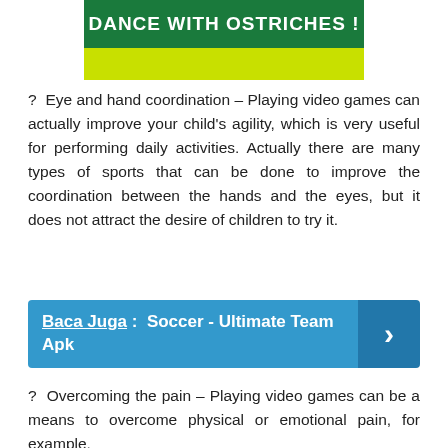[Figure (other): App banner with green background showing 'DANCE WITH OSTRICHES!' text in white bold uppercase, with a yellow-green strip and block below]
? Eye and hand coordination – Playing video games can actually improve your child's agility, which is very useful for performing daily activities. Actually there are many types of sports that can be done to improve the coordination between the hands and the eyes, but it does not attract the desire of children to try it.
Baca Juga : Soccer - Ultimate Team Apk
? Overcoming the pain – Playing video games can be a means to overcome physical or emotional pain, for example,